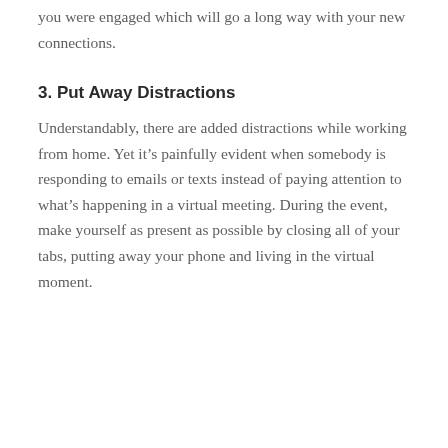conversation. By actively listening, you show that you were engaged which will go a long way with your new connections.
3. Put Away Distractions
Understandably, there are added distractions while working from home. Yet it’s painfully evident when somebody is responding to emails or texts instead of paying attention to what’s happening in a virtual meeting. During the event, make yourself as present as possible by closing all of your tabs, putting away your phone and living in the virtual moment.